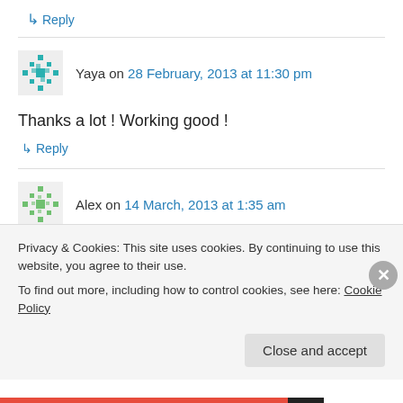↳ Reply
Yaya on 28 February, 2013 at 11:30 pm
Thanks a lot ! Working good !
↳ Reply
Alex on 14 March, 2013 at 1:35 am
FCP X imports HD video and changes aspect
Privacy & Cookies: This site uses cookies. By continuing to use this website, you agree to their use.
To find out more, including how to control cookies, see here: Cookie Policy
Close and accept